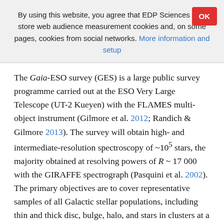By using this website, you agree that EDP Sciences may store web audience measurement cookies and, on some pages, cookies from social networks. More information and setup
The Gaia-ESO survey (GES) is a large public survey programme carried out at the ESO Very Large Telescope (UT-2 Kueyen) with the FLAMES multi-object instrument (Gilmore et al. 2012; Randich & Gilmore 2013). The survey will obtain high- and intermediate-resolution spectroscopy of ~10^5 stars, the majority obtained at resolving powers of R ~ 17 000 with the GIRAFFE spectrograph (Pasquini et al. 2002). The primary objectives are to cover representative samples of all Galactic stellar populations, including thin and thick disc, bulge, halo, and stars in clusters at a range of ages and Galactocentric radii. The spectra contain both